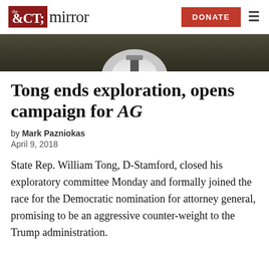the CT mirror | DONATE
[Figure (photo): Partial photo of a person in a dark jacket and white shirt/tie, cropped to show neck and chest area only.]
Tong ends exploration, opens campaign for AG
by Mark Pazniokas
April 9, 2018
State Rep. William Tong, D-Stamford, closed his exploratory committee Monday and formally joined the race for the Democratic nomination for attorney general, promising to be an aggressive counter-weight to the Trump administration.